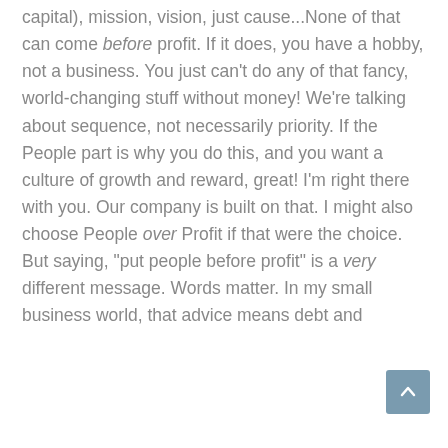capital), mission, vision, just cause...None of that can come before profit. If it does, you have a hobby, not a business. You just can't do any of that fancy, world-changing stuff without money! We're talking about sequence, not necessarily priority. If the People part is why you do this, and you want a culture of growth and reward, great! I'm right there with you. Our company is built on that. I might also choose People over Profit if that were the choice. But saying, "put people before profit" is a very different message. Words matter. In my small business world, that advice means debt and